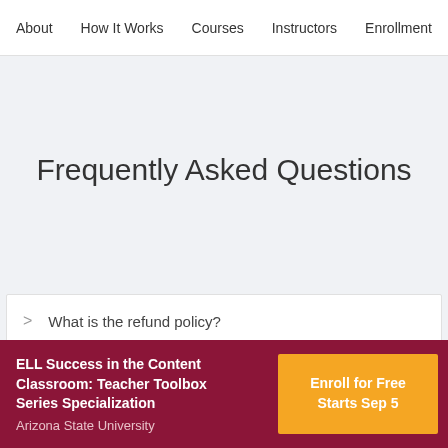About | How It Works | Courses | Instructors | Enrollment
Frequently Asked Questions
What is the refund policy?
ELL Success in the Content Classroom: Teacher Toolbox Series Specialization
Arizona State University
Enroll for Free
Starts Sep 5